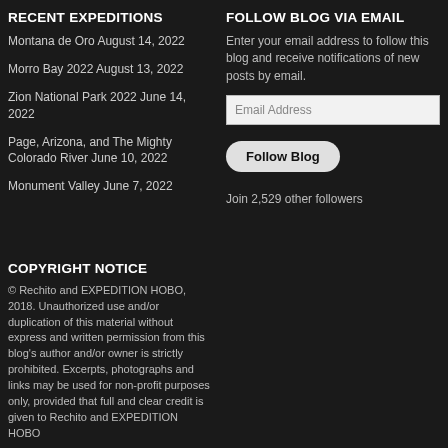RECENT EXPEDITIONS
Montana de Oro August 14, 2022
Morro Bay 2022 August 13, 2022
Zion National Park 2022 June 14, 2022
Page, Arizona, and The Mighty Colorado River June 10, 2022
Monument Valley June 7, 2022
COPYRIGHT NOTICE
© Rechito and EXPEDITION HOBO, 2018. Unauthorized use and/or duplication of this material without express and written permission from this blog's author and/or owner is strictly prohibited. Excerpts, photographs and links may be used for non-profit purposes only, provided that full and clear credit is given to Rechito and EXPEDITION HOBO
FOLLOW BLOG VIA EMAIL
Enter your email address to follow this blog and receive notifications of new posts by email.
Email Address
Follow Blog
Join 2,529 other followers